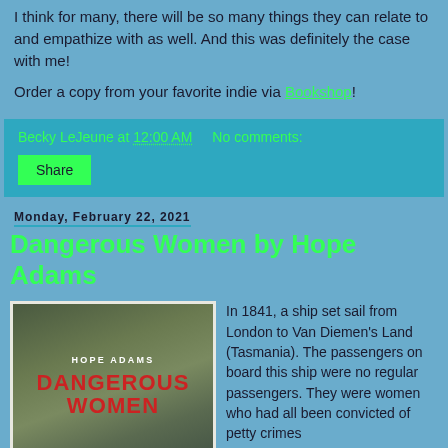I think for many, there will be so many things they can relate to and empathize with as well. And this was definitely the case with me!
Order a copy from your favorite indie via Bookshop!
Becky LeJeune at 12:00 AM    No comments:
Share
Monday, February 22, 2021
Dangerous Women by Hope Adams
[Figure (photo): Book cover of 'Dangerous Women' by Hope Adams showing stormy sky background with author name in white and title in red lettering]
In 1841, a ship set sail from London to Van Diemen's Land (Tasmania). The passengers on board this ship were no regular passengers. They were women who had all been convicted of petty crimes